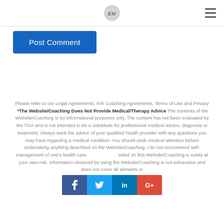KW [logo]
Post Comment
Please refer to our Legal Agreements, KW Coaching Agreements, Terms of Use and Privacy *The Website/Coaching Does Not Provide Medical/Therapy Advice The contents of the Website/Coaching is for informational purposes only. The content has not been evaluated by the FDA and is not intended to be a substitute for professional medical advice, diagnosis or treatment. Always seek the advice of your qualified health provider with any questions you may have regarding a medical condition. You should seek medical attention before undertaking anything described on the Website/Coaching. I do not recommend self-management of one's health care. [provided on this] Website/Coaching is solely at your own risk. Information obtained by using the Website/Coaching is not exhaustive and does not cover all ailments or
[Figure (infographic): Social sharing bar with Facebook, Twitter, LinkedIn, and Google+ buttons]